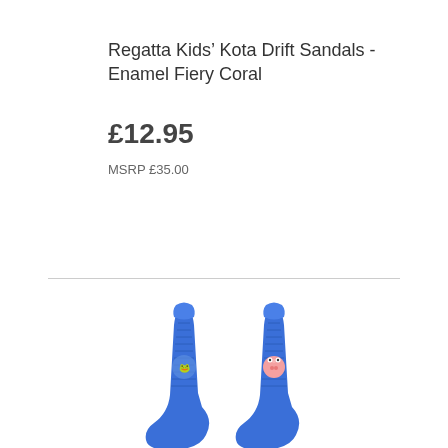Regatta Kids’ Kota Drift Sandals - Enamel Fiery Coral
£12.95
MSRP £35.00
[Figure (other): Green Add to Cart button with black shopping cart icon on the left and white bold text 'Add to Cart' on the right]
[Figure (photo): Photo of blue ribbed children's socks with Peppa Pig character embroidery on them, showing two socks side by side from above]